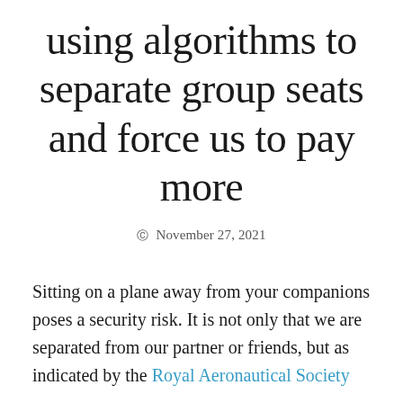using algorithms to separate group seats and force us to pay more
© November 27, 2021
Sitting on a plane away from your companions poses a security risk. It is not only that we are separated from our partner or friends, but as indicated by the Royal Aeronautical Society